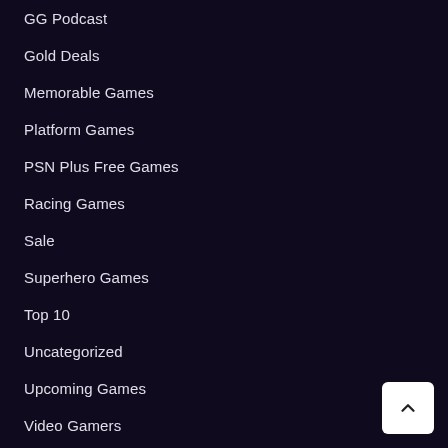GG Podcast
Gold Deals
Memorable Games
Platform Games
PSN Plus Free Games
Racing Games
Sale
Superhero Games
Top 10
Uncategorized
Upcoming Games
Video Gamers
Xbox Game Pass
YouTube Channel